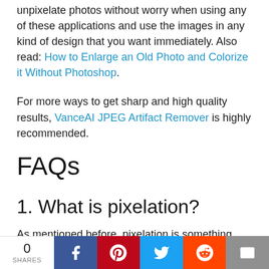unpixelate photos without worry when using any of these applications and use the images in any kind of design that you want immediately. Also read: How to Enlarge an Old Photo and Colorize it Without Photoshop.
For more ways to get sharp and high quality results, VanceAI JPEG Artifact Remover is highly recommended.
FAQs
1. What is pixelation?
As mentioned before, pixelation is something
0 SHARES | Facebook | Pinterest | Twitter | Reddit | Email